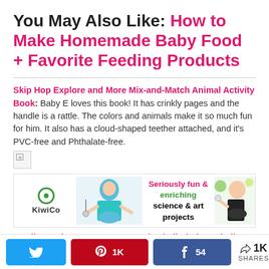You May Also Like: How to Make Homemade Baby Food + Favorite Feeding Products
Skip Hop Explore and More Mix-and-Match Animal Activity Book: Baby E loves this book! It has crinkly pages and the handle is a rattle. The colors and animals make it so much fun for him. It also has a cloud-shaped teether attached, and it's PVC-free and Phthalate-free.
[Figure (photo): Broken image placeholder icon]
[Figure (photo): KiwiCo advertisement banner: Seriously fun & enriching science & art projects, with child doing science experiment]
OBall Cars (AMAZON'S CHOICE!), Oball Shaker, Oball Classic Ball: I had never heard of Oball toys before we
Twitter share button | Pinterest 1K | Facebook 54 | 1K SHARES